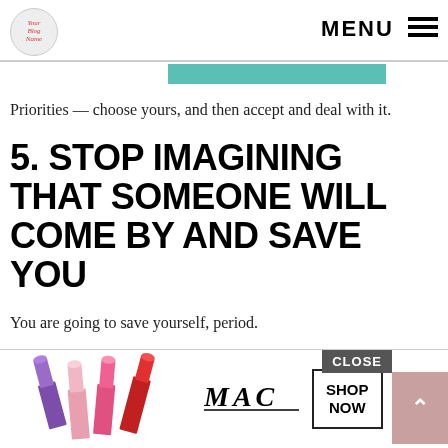MENU
Priorities — choose yours, and then accept and deal with it.
5. STOP IMAGINING THAT SOMEONE WILL COME BY AND SAVE YOU
You are going to save yourself, period.
People change, situations change, things happen, and you need to be sure that you can rely on YOURSELF to handle your busi... and
[Figure (screenshot): MAC Cosmetics advertisement banner showing lipsticks on left, MAC wordmark in center, SHOP NOW button, and a pink scroll-up arrow button on the right. A CLOSE button appears in dark gray at the top right of the banner.]